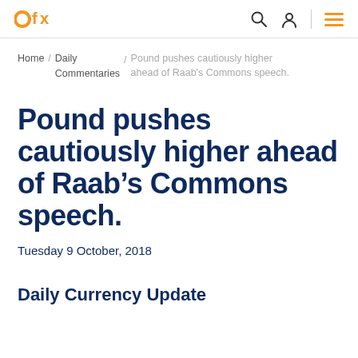OFX [logo with search, account, menu icons]
Home / Daily Commentaries / Pound pushes cautiously higher ahead of Raab's Commons speech.
Pound pushes cautiously higher ahead of Raab’s Commons speech.
Tuesday 9 October, 2018
Daily Currency Update